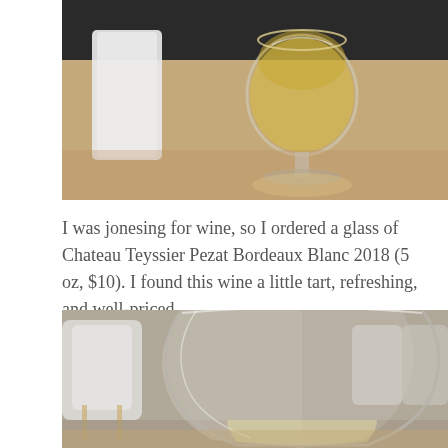[Figure (photo): Photo of a glass of white wine on a wooden table, viewed from above, with a white frosted glass/container nearby. The wine has a golden-yellow color.]
I was jonesing for wine, so I ordered a glass of Chateau Teyssier Pezat Bordeaux Blanc 2018 (5 oz, $10). I found this wine a little tart, refreshing, and well-priced.
[Figure (photo): Close-up photo of a clear stemless wine glass containing white wine, placed on a wooden table in a restaurant setting with white chairs visible in the background.]